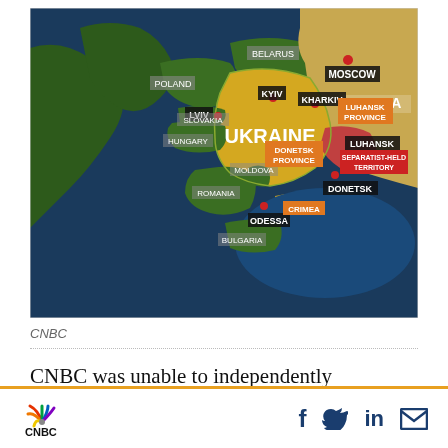[Figure (map): Map of Eastern Europe showing Ukraine and surrounding countries. Labels include: Moscow (with red pin), Russia, Belarus, Poland, Slovakia, Hungary, Moldova, Romania, Bulgaria, Lviv (with red dot), Kyiv (with red dot), Kharkiv (with red dot), Ukraine (large label), Luhansk Province (orange box), Luhansk, Separatist-Held Territory (red box), Donetsk Province (orange box), Donetsk, Odessa (with red dot), Crimea (orange label), Black Sea area. Ukraine is highlighted in yellow/gold.]
CNBC
CNBC was unable to independently confirm the ministry’s report.
[Figure (logo): CNBC logo with peacock/rainbow symbol and social media icons: f (Facebook), bird (Twitter), in (LinkedIn), envelope (Email)]